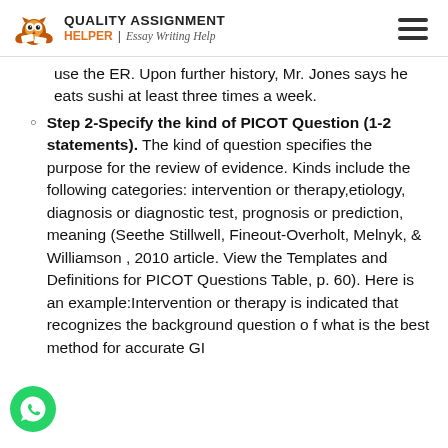QUALITY ASSIGNMENT HELPER | Essay Writing Help
use the ER. Upon further history, Mr. Jones says he eats sushi at least three times a week.
Step 2-Specify the kind of PICOT Question (1-2 statements). The kind of question specifies the purpose for the review of evidence. Kinds include the following categories: intervention or therapy,etiology, diagnosis or diagnostic test, prognosis or prediction, meaning (Seethe Stillwell, Fineout-Overholt, Melnyk, & Williamson , 2010 article. View the Templates and Definitions for PICOT Questions Table, p. 60). Here is an example:Intervention or therapy is indicated that recognizes the background question o f what is the best method for accurate GI
[Figure (logo): WhatsApp contact button - green circle with phone icon]